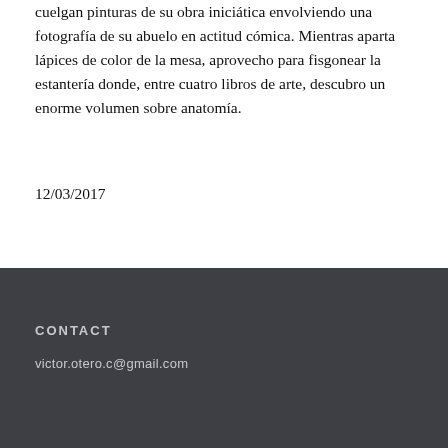cuelgan pinturas de su obra iniciática envolviendo una fotografía de su abuelo en actitud cómica. Mientras aparta lápices de color de la mesa, aprovecho para fisgonear la estantería donde, entre cuatro libros de arte, descubro un enorme volumen sobre anatomía.
12/03/2017
CONTACT
victor.otero.c@gmail.com